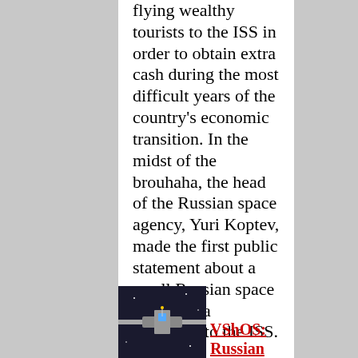flying wealthy tourists to the ISS in order to obtain extra cash during the most difficult years of the country's economic transition. In the midst of the brouhaha, the head of the Russian space agency, Yuri Koptev, made the first public statement about a small Russian space station as a successor to the ISS.
[Figure (photo): Photo of a satellite or spacecraft against a dark space background]
VShOS: Russian